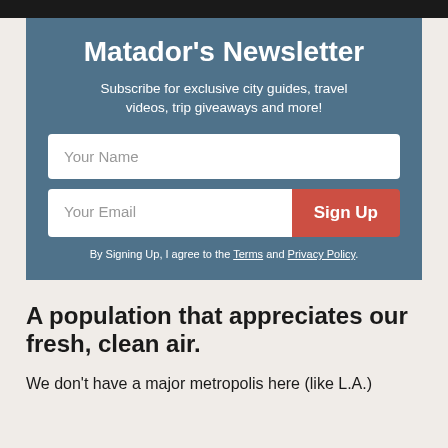Matador's Newsletter
Subscribe for exclusive city guides, travel videos, trip giveaways and more!
Your Name
Your Email
Sign Up
By Signing Up, I agree to the Terms and Privacy Policy.
A population that appreciates our fresh, clean air.
We don't have a major metropolis here (like L.A.)